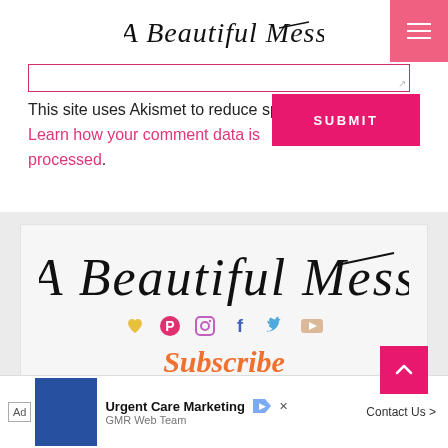A Beautiful Mess
[Figure (screenshot): Pink outlined text input field with resize handle]
This site uses Akismet to reduce spam. Learn how your comment data is processed.
[Figure (screenshot): Hot pink SUBMIT button]
[Figure (logo): A Beautiful Mess logo large script text on light gray card background with social icons (heart, Pinterest, Instagram, Facebook, Twitter, YouTube) and Subscribe text in orange below]
[Figure (screenshot): Ad banner: Urgent Care Marketing by GMR Web Team with Contact Us CTA]